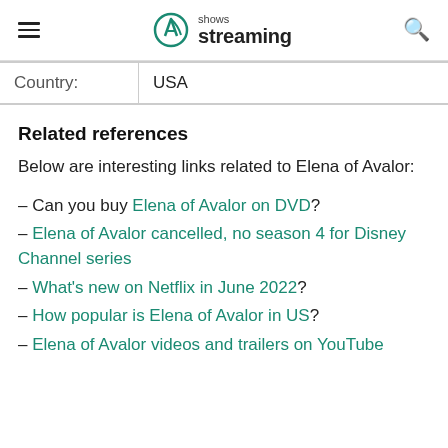shows streaming
| Country: | USA |
Related references
Below are interesting links related to Elena of Avalor:
– Can you buy Elena of Avalor on DVD?
– Elena of Avalor cancelled, no season 4 for Disney Channel series
– What's new on Netflix in June 2022?
– How popular is Elena of Avalor in US?
– Elena of Avalor videos and trailers on YouTube